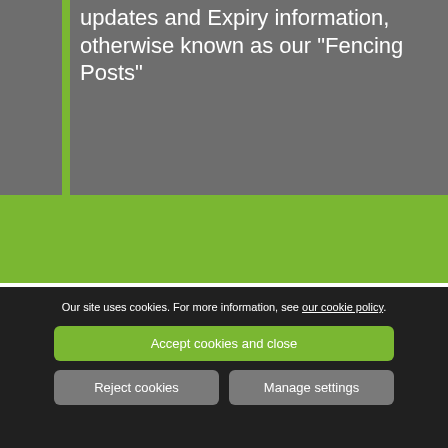updates and Expiry information, otherwise known as our "Fencing Posts"
[Figure (screenshot): Green band separator and partial section with white background below]
Posts from February 2022
Our site uses cookies. For more information, see our cookie policy.
Accept cookies and close
Reject cookies
Manage settings